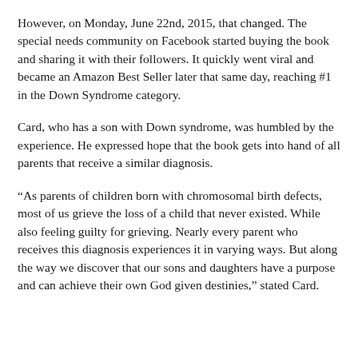However, on Monday, June 22nd, 2015, that changed. The special needs community on Facebook started buying the book and sharing it with their followers. It quickly went viral and became an Amazon Best Seller later that same day, reaching #1 in the Down Syndrome category.
Card, who has a son with Down syndrome, was humbled by the experience. He expressed hope that the book gets into hand of all parents that receive a similar diagnosis.
“As parents of children born with chromosomal birth defects, most of us grieve the loss of a child that never existed. While also feeling guilty for grieving. Nearly every parent who receives this diagnosis experiences it in varying ways. But along the way we discover that our sons and daughters have a purpose and can achieve their own God given destinies,” stated Card.